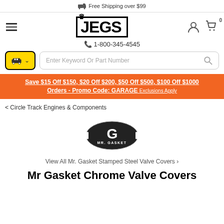🚚 Free Shipping over $99
[Figure (logo): JEGS logo with crown, black bold text in bordered box]
📞 1-800-345-4545
Save $15 Off $150, $20 Off $200, $50 Off $500, $100 Off $1000 Orders - Promo Code: GARAGE Exclusions Apply
< Circle Track Engines & Components
[Figure (logo): Mr. Gasket oval logo in black with stylized G]
View All Mr. Gasket Stamped Steel Valve Covers >
Mr Gasket Chrome Valve Covers